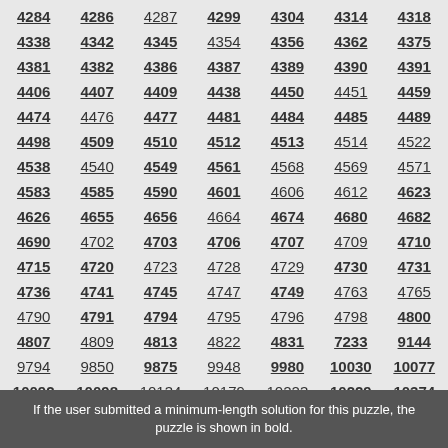4284 4286 4287 4299 4304 4314 4318 4338 4342 4345 4354 4356 4362 4375 4381 4382 4386 4387 4389 4390 4391 4406 4407 4409 4438 4450 4451 4459 4474 4476 4477 4481 4484 4485 4489 4498 4509 4510 4512 4513 4514 4522 4538 4540 4549 4561 4568 4569 4571 4583 4585 4590 4601 4606 4612 4623 4626 4655 4656 4664 4674 4680 4682 4690 4702 4703 4706 4707 4709 4710 4715 4720 4723 4728 4729 4730 4731 4736 4741 4745 4747 4749 4763 4765 4790 4791 4794 4795 4796 4798 4800 4807 4809 4813 4822 4831 7233 9144 9794 9850 9875 9948 9980 10030 10077 10092 10098 10134 10179 10223 10229 10374 10661 10674 10832 10895 11075 12861 12866
If the user submitted a minimum-length solution for this puzzle, the puzzle is shown in bold.